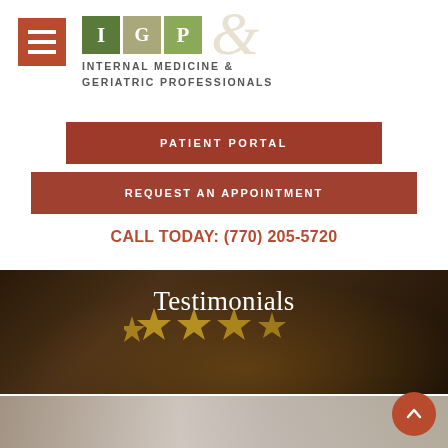[Figure (logo): Internal Medicine & Geriatric Professionals logo with IGP letter boxes in green/olive colors and ampersand watermark]
PATIENT PORTAL
REQUEST AN APPOINTMENT
CALL TODAY: (770) 205-5720
Testimonials
[Figure (photo): Dark background photo with golden stars and person silhouette, used as testimonials section banner]
[Figure (photo): Bottom partial photo showing person in medical/professional setting]